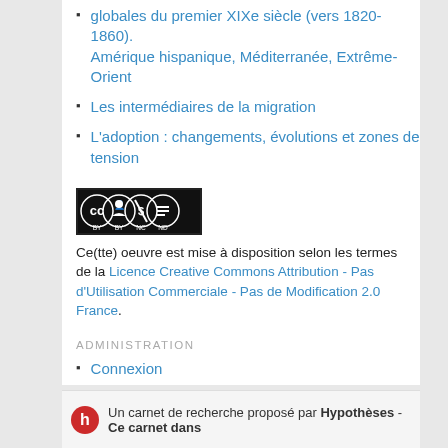globales du premier XIXe siècle (vers 1820-1860). Amérique hispanique, Méditerranée, Extrême-Orient
Les intermédiaires de la migration
L'adoption : changements, évolutions et zones de tension
[Figure (logo): Creative Commons BY NC ND license badge]
Ce(tte) oeuvre est mise à disposition selon les termes de la Licence Creative Commons Attribution - Pas d'Utilisation Commerciale - Pas de Modification 2.0 France.
ADMINISTRATION
Connexion
Entries RSS
Comments RSS
Hypotheses
Un carnet de recherche proposé par Hypothèses - Ce carnet dans